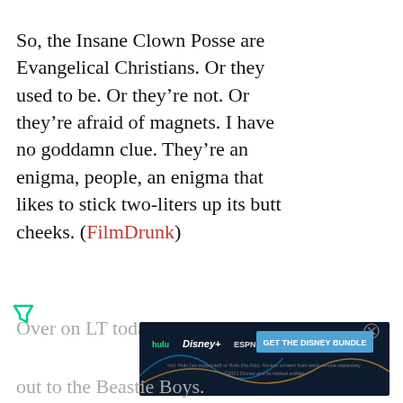So, the Insane Clown Posse are Evangelical Christians. Or they used to be. Or they’re not. Or they’re afraid of magnets. I have no goddamn clue. They’re an enigma, people, an enigma that likes to stick two-liters up its butt cheeks. (FilmDrunk)
Over on LT today, you can
[Figure (screenshot): Advertisement banner for the Disney Bundle featuring Hulu, Disney+, and ESPN+ logos with a 'GET THE DISNEY BUNDLE' call-to-action button and fine print text.]
out to the Beastie Boys.